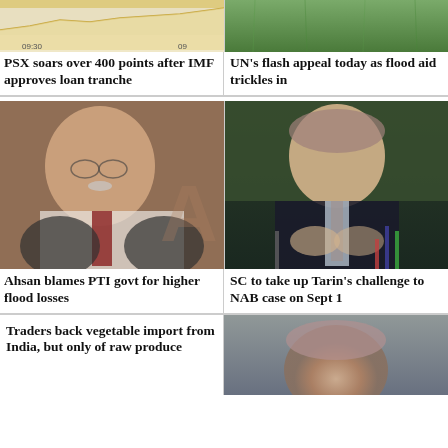[Figure (continuous-plot): Stock market chart showing PSX index, partial view with time labels 09:30 and 09 visible, beige/tan colored chart area]
[Figure (photo): Aerial or ground-level photo of green grass/field, flood-related imagery]
PSX soars over 400 points after IMF approves loan tranche
UN's flash appeal today as flood aid trickles in
[Figure (photo): Photo of Ahsan Iqbal, a Pakistani politician with glasses and red tie, speaking]
[Figure (photo): Photo of Shaukat Tarin, elderly man in dark suit at press conference with microphones]
Ahsan blames PTI govt for higher flood losses
SC to take up Tarin's challenge to NAB case on Sept 1
Traders back vegetable import from India, but only of raw produce
[Figure (photo): Partial photo of a person, cropped at bottom of page]